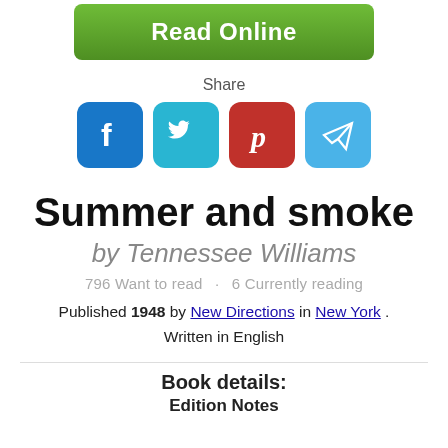[Figure (other): Green 'Read Online' button]
Share
[Figure (other): Social share icons: Facebook, Twitter, Pinterest, Telegram]
Summer and smoke
by Tennessee Williams
796 Want to read · 6 Currently reading
Published 1948 by New Directions in New York . Written in English
Book details:
Edition Notes